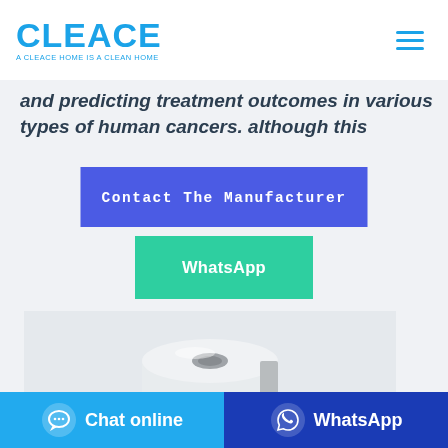CLEACE — A CLEACE HOME IS A CLEAN HOME
and predicting treatment outcomes in various types of human cancers. although this
Contact The Manufacturer
WhatsApp
[Figure (photo): A roll of white tape or adhesive product on a light gray background]
Chat online
WhatsApp